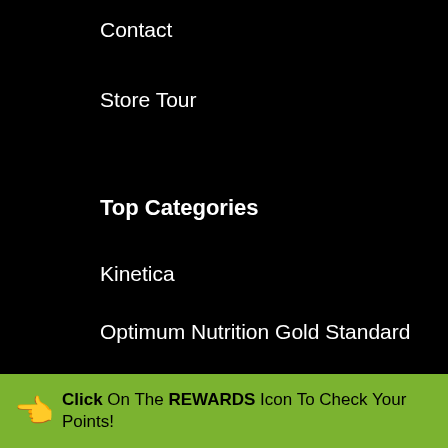Contact
Store Tour
Top Categories
Kinetica
Optimum Nutrition Gold Standard
Protein Bars
Supreme Nutrition
Click On The REWARDS Icon To Check Your Points!